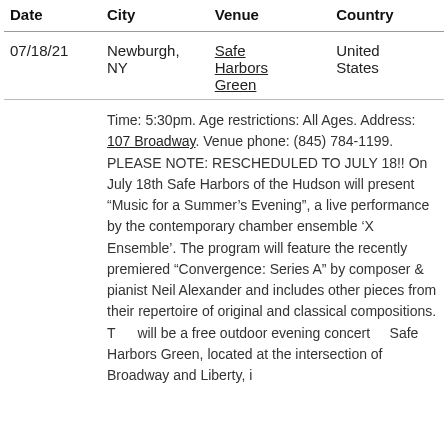| Date | City | Venue | Country |
| --- | --- | --- | --- |
| 07/18/21 | Newburgh, NY | Safe Harbors Green | United States |
|  |  | Time: 5:30pm. Age restrictions: All Ages. Address: 107 Broadway. Venue phone: (845) 784-1199. PLEASE NOTE: RESCHEDULED TO JULY 18!! On July 18th Safe Harbors of the Hudson will present "Music for a Summer's Evening", a live performance by the contemporary chamber ensemble 'X Ensemble'. The program will feature the recently premiered "Convergence: Series A" by composer & pianist Neil Alexander and includes other pieces from their repertoire of original and classical compositions. This will be a free outdoor evening concert at Safe Harbors Green, located at the intersection of Broadway and Liberty, in |  |